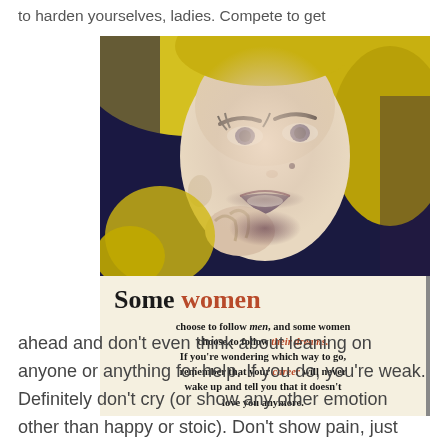to harden yourselves, ladies. Compete to get
[Figure (photo): Stylized pop-art style portrait of a blonde woman (resembling Marilyn Monroe) with dramatic makeup, blue-tinted shadows and yellow-tinted hair, holding her hand near her mouth. Below the photo is a quote overlay on a cream/beige background.]
Some women choose to follow men, and some women choose to follow their dreams. If you're wondering which way to go, remember that your career will never wake up and tell you that it doesn't love you anymore.
ahead and don't even think about leaning on anyone or anything for help. If you do, you're weak. Definitely don't cry (or show any other emotion other than happy or stoic). Don't show pain, just pop some pills every month, muscle